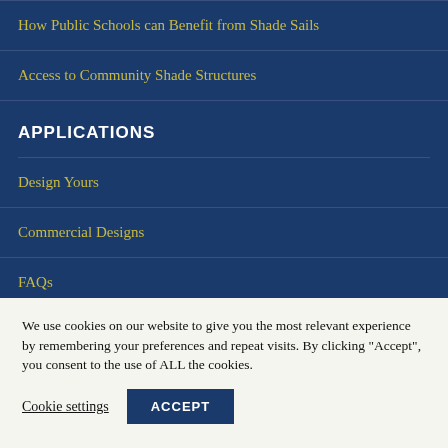How Public Schools can Benefit from Shade Sails
Access to Community Shade Structures
APPLICATIONS
Design Yours
Commercial Designs
FAQs
We use cookies on our website to give you the most relevant experience by remembering your preferences and repeat visits. By clicking “Accept”, you consent to the use of ALL the cookies.
Cookie settings
ACCEPT